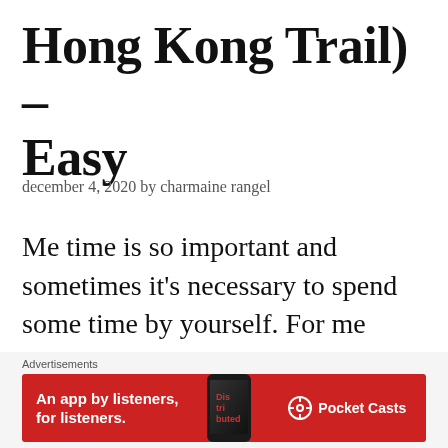Hong Kong Trail) – Easy
december 4, 2020 by charmaine rangel
Me time is so important and sometimes it's necessary to spend some time by yourself. For me hiking is my me time, my form of meditation amongst nature in all its forms.
[Figure (other): Advertisement banner for Pocket Casts app showing red background with phone image and text 'An app by listeners, for listeners.']